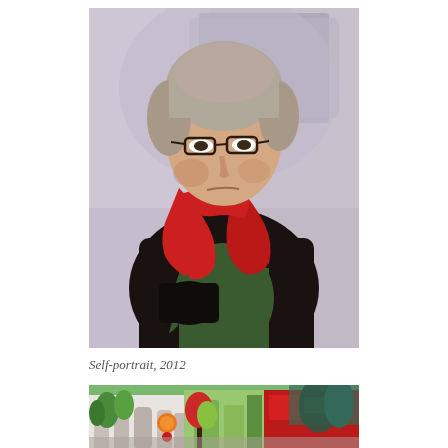[Figure (illustration): Oil painting self-portrait of a woman with short grey hair wearing glasses, a red scarf, dark jacket, and green top, painted against a grey-lavender brushstroke background. The figure appears to be holding something dark in her hands.]
Self-portrait, 2012
[Figure (illustration): Colorful painting of a city street scene with buildings, trees, an orange traffic light or sign, red structures, and green foliage. The scene is vibrant with greens, reds, and whites visible.]